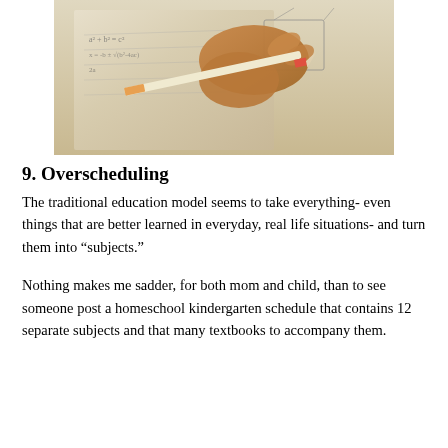[Figure (photo): A hand holding a pencil writing on paper with math equations and diagrams]
9. Overscheduling
The traditional education model seems to take everything- even things that are better learned in everyday, real life situations- and turn them into “subjects.”
Nothing makes me sadder, for both mom and child, than to see someone post a homeschool kindergarten schedule that contains 12 separate subjects and that many textbooks to accompany them.